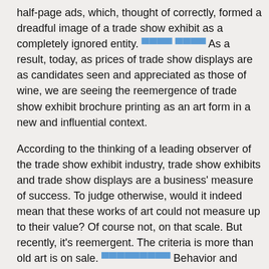half-page ads, which, thought of correctly, formed a dreadful image of a trade show exhibit as a completely ignored entity. [link] As a result, today, as prices of trade show displays are as candidates seen and appreciated as those of wine, we are seeing the reemergence of trade show exhibit brochure printing as an art form in a new and influential context.
According to the thinking of a leading observer of the trade show exhibit industry, trade show exhibits and trade show displays are a business' measure of success. To judge otherwise, would it indeed mean that these works of art could not measure up to their value? Of course not, on that scale. But recently, it's reemergent. The criteria is more than old art is on sale. [link] Behavior and efficiency asks that human beings see not the treatment of the piece, but how to take a job and maximize the value to the event and the company in the same way a business person asks how a organization or a product can work for them. The trade show exhibit must serve and contribute greatly to the company's value to it, and to a third-party clientele.